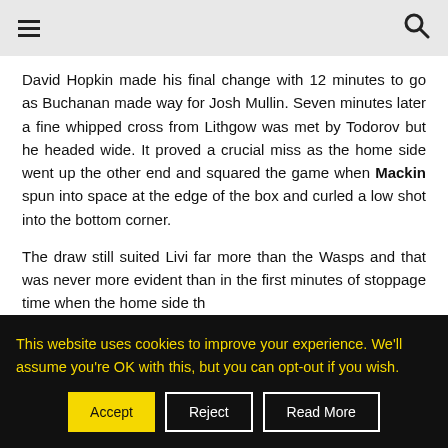≡  🔍
David Hopkin made his final change with 12 minutes to go as Buchanan made way for Josh Mullin. Seven minutes later a fine whipped cross from Lithgow was met by Todorov but he headed wide. It proved a crucial miss as the home side went up the other end and squared the game when Mackin spun into space at the edge of the box and curled a low shot into the bottom corner.
The draw still suited Livi far more than the Wasps and that was never more evident than in the first minutes of stoppage time when the home side th…
This website uses cookies to improve your experience. We'll assume you're OK with this, but you can opt-out if you wish.